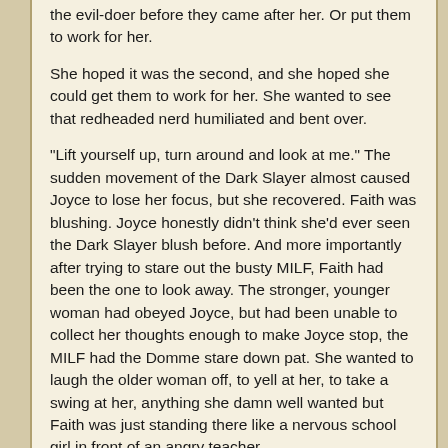the evil-doer before they came after her. Or put them to work for her.
She hoped it was the second, and she hoped she could get them to work for her. She wanted to see that redheaded nerd humiliated and bent over.
"Lift yourself up, turn around and look at me." The sudden movement of the Dark Slayer almost caused Joyce to lose her focus, but she recovered. Faith was blushing. Joyce honestly didn't think she'd ever seen the Dark Slayer blush before. And more importantly after trying to stare out the busty MILF, Faith had been the one to look away. The stronger, younger woman had obeyed Joyce, but had been unable to collect her thoughts enough to make Joyce stop, the MILF had the Domme stare down pat. She wanted to laugh the older woman off, to yell at her, to take a swing at her, anything she damn well wanted but Faith was just standing there like a nervous school girl in front of an angry teacher.
'Y-you aren't-t a t-t-top. I-I am' Her mental attack was a total failure